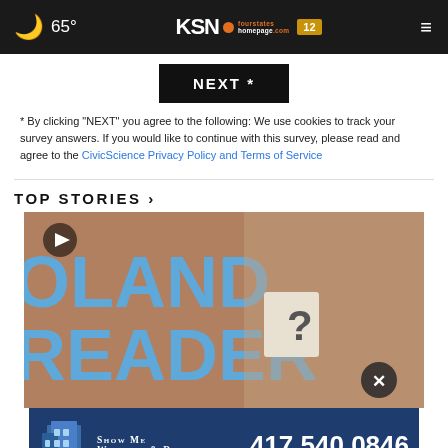65° KSN fourstates homepage.com 12
NEXT *
* By clicking "NEXT" you agree to the following: We use cookies to track your survey answers. If you would like to continue with this survey, please read and agree to the CivicScience Privacy Policy and Terms of Service
TOP STORIES ›
[Figure (photo): Video thumbnail showing a man holding a card with a question mark, with large text reading 'OLAND READER' on background. Play button in top left corner.]
[Figure (other): Advertisement banner for Show Me Windows & Doors with phone number 417.540.0846]